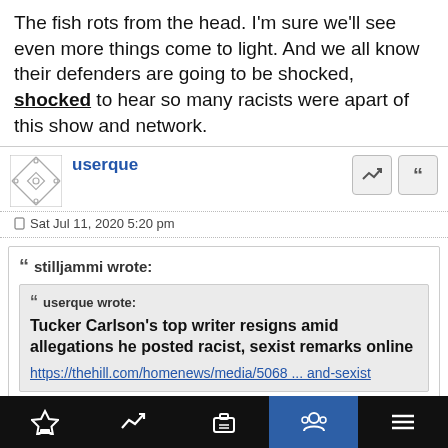The fish rots from the head. I'm sure we'll see even more things come to light. And we all know their defenders are going to be shocked, shocked to hear so many racists were apart of this show and network.
userque
Sat Jul 11, 2020 5:20 pm
stilljammi wrote:
userque wrote:
Tucker Carlson's top writer resigns amid allegations he posted racist, sexist remarks online
https://thehill.com/homenews/media/5068 ... and-sexist
[Article and video]